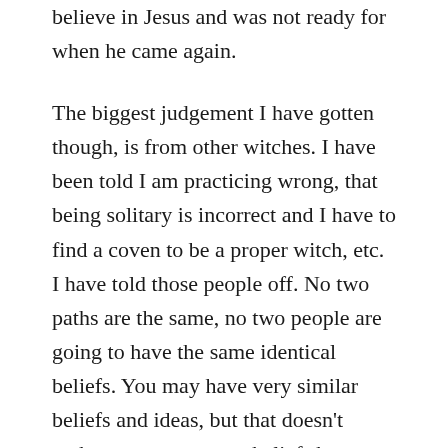believe in Jesus and was not ready for when he came again.
The biggest judgement I have gotten though, is from other witches. I have been told I am practicing wrong, that being solitary is incorrect and I have to find a coven to be a proper witch, etc. I have told those people off. No two paths are the same, no two people are going to have the same identical beliefs. You may have very similar beliefs and ideas, but that doesn’t make any one persons beliefs better then another’s.
One of the best questions I have gotten was from another witch who asked what kind of witch I am. Being the smart ass that I am, my answer was that I am the magical kind. She was inquiring about my path